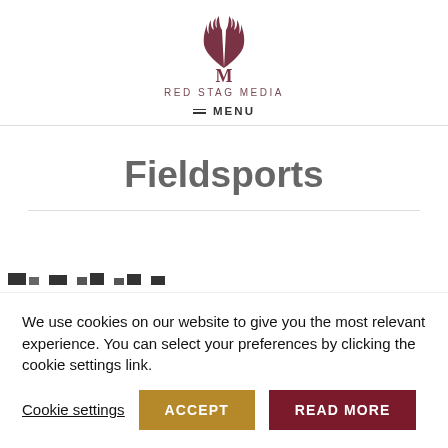[Figure (logo): Red Stag Media antler logo — stylized deer antlers in dark mauve/burgundy color above the letter M]
RED STAG MEDIA
MENU
Fieldsports
[Figure (other): Thumbnail image strip partially visible at bottom of page content area]
We use cookies on our website to give you the most relevant experience. You can select your preferences by clicking the cookie settings link.
Cookie settings   ACCEPT   READ MORE